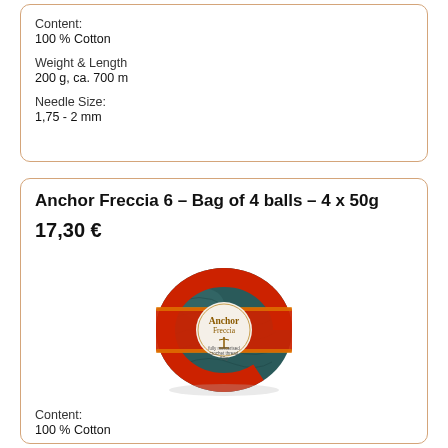Content:
100 % Cotton
Weight & Length
200 g, ca. 700 m
Needle Size:
1,75 - 2 mm
Anchor Freccia 6 – Bag of 4 balls – 4 x 50g
17,30 €
[Figure (photo): Ball of teal/dark green crochet thread with a red and gold Anchor Freccia brand label wrapped around the middle.]
Content:
100 % Cotton